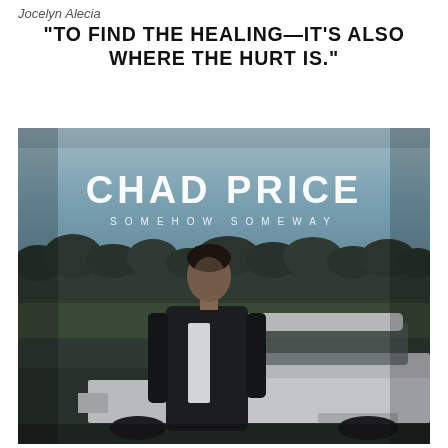Jocelyn Alecia
“TO FIND THE HEALING—IT’S ALSO WHERE THE HURT IS.”
[Figure (photo): Album cover for Chad Price 'Somehow Someway' showing a man in a dark jacket standing in front of a white car in a field with trees and a blue-grey sky in the background. The artist name 'CHAD PRICE' is displayed in large white text at the top, with 'SOMEHOW SOMEWAY' in smaller spaced letters below.]